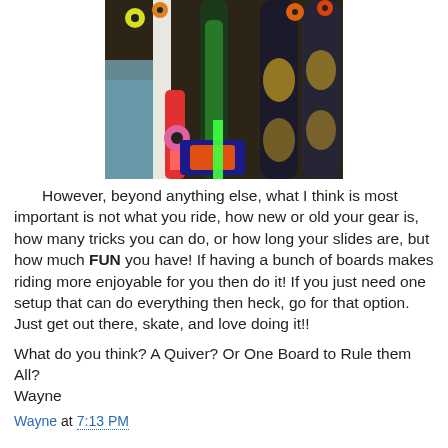[Figure (photo): Collection of skateboards and longboards stored vertically against a wall, with colorful wheels visible.]
However, beyond anything else, what I think is most important is not what you ride, how new or old your gear is, how many tricks you can do, or how long your slides are, but how much FUN you have! If having a bunch of boards makes riding more enjoyable for you then do it! If you just need one setup that can do everything then heck, go for that option. Just get out there, skate, and love doing it!!
What do you think? A Quiver? Or One Board to Rule them All?
Wayne
Wayne at 7:13 PM